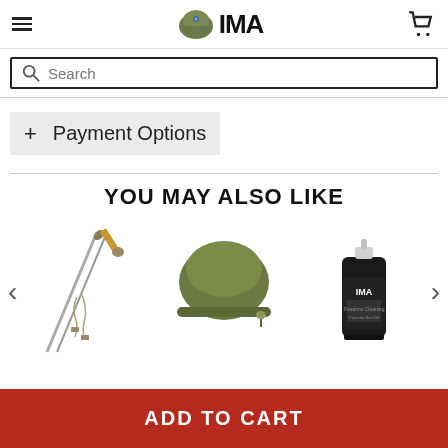[Figure (logo): IMA (International Military Antiques) logo with military helmet icon and stylized text]
[Figure (screenshot): Search bar with magnifying glass icon and placeholder text 'Search']
+ Payment Options
YOU MAY ALSO LIKE
[Figure (photo): Three product images: a military sword/dagger with scabbard, an olive drab military helmet, and an IMA branded spray can]
ADD TO CART